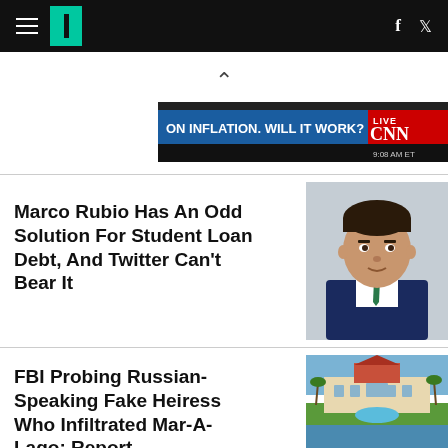HuffPost navigation bar with hamburger menu, logo, Facebook and Twitter icons
[Figure (screenshot): CNN broadcast screenshot showing 'ON INFLATION. WILL IT WORK?' with LIVE chyron]
Marco Rubio Has An Odd Solution For Student Loan Debt, And Twitter Can't Bear It
[Figure (photo): Headshot of Marco Rubio in dark suit]
FBI Probing Russian-Speaking Fake Heiress Who Infiltrated Mar-A-Lago: Report
[Figure (photo): Aerial view of Mar-A-Lago resort in Palm Beach, Florida]